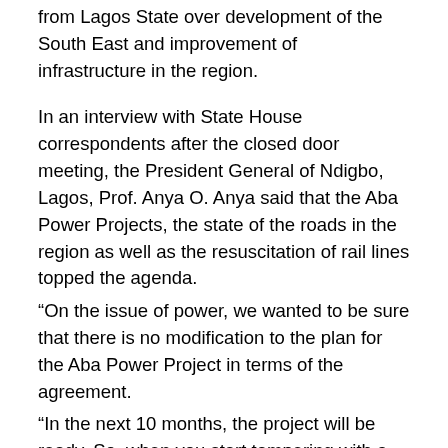from Lagos State over development of the South East and improvement of infrastructure in the region.
In an interview with State House correspondents after the closed door meeting, the President General of Ndigbo, Lagos, Prof. Anya O. Anya said that the Aba Power Projects, the state of the roads in the region as well as the resuscitation of rail lines topped the agenda.
“On the issue of power, we wanted to be sure that there is no modification to the plan for the Aba Power Project in terms of the agreement.
“In the next 10 months, the project will be ready. So, when you start tampering with a project that is almost finished, you might perhaps be saying nothing will happen.
“We don’t want that to happen; not in the area of power and the President has given us his assurance. We are quite satisfied,” he said.
Anya, a former Vice Chancellor and former Chairman of the Nigerian Economic Summit Group said the response from the President was encouraging.